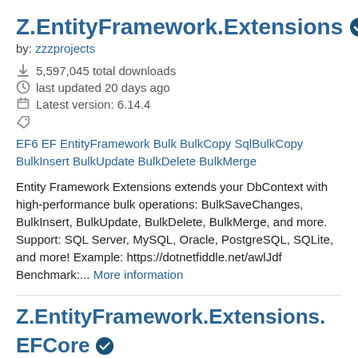Z.EntityFramework.Extensions ✓
by: zzzprojects
5,597,045 total downloads
last updated 20 days ago
Latest version: 6.14.4
EF6 EF EntityFramework Bulk BulkCopy SqlBulkCopy BulkInsert BulkUpdate BulkDelete BulkMerge
Entity Framework Extensions extends your DbContext with high-performance bulk operations: BulkSaveChanges, BulkInsert, BulkUpdate, BulkDelete, BulkMerge, and more. Support: SQL Server, MySQL, Oracle, PostgreSQL, SQLite, and more! Example: https://dotnetfiddle.net/awlJdf Benchmark:... More information
Z.EntityFramework.Extensions.EFCore ✓
by: zzzprojects
13,253,014 total downloads
last updated 20 days ago